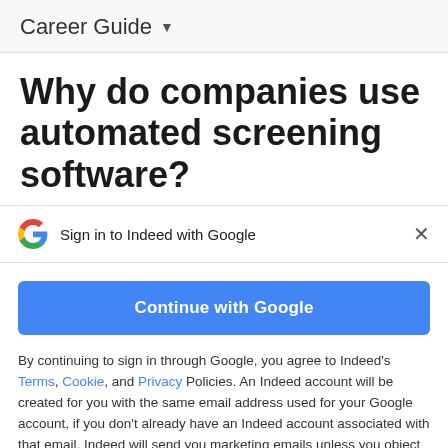Career Guide ▾
Why do companies use automated screening software?
Sign in to Indeed with Google
Continue with Google
By continuing to sign in through Google, you agree to Indeed's Terms, Cookie, and Privacy Policies. An Indeed account will be created for you with the same email address used for your Google account, if you don't already have an Indeed account associated with that email. Indeed will send you marketing emails unless you object to these and you can unsubscribe at any time.